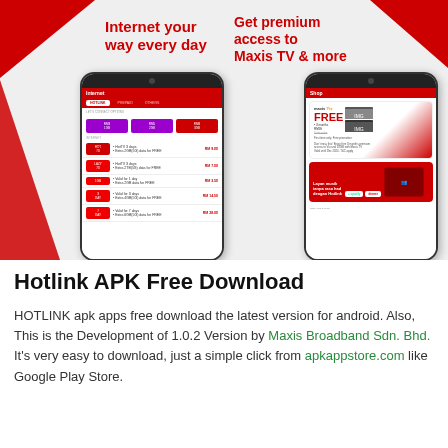[Figure (screenshot): Two smartphone screenshots side by side on a light grey background with red corner accents. Left screenshot shows a Hotlink Internet/data plan selection screen with the heading 'Internet your way every day' in red. Right screenshot shows a Hotlink Shop screen with 'Get premium access to Maxis TV & more' in red, featuring a FREE Maxis TV promotion card and a Hazrul music promo banner.]
Hotlink APK Free Download
HOTLINK apk apps free download the latest version for android. Also, This is the Development of 1.0.2 Version by Maxis Broadband Sdn. Bhd. It's very easy to download, just a simple click from apkappstore.com like Google Play Store.